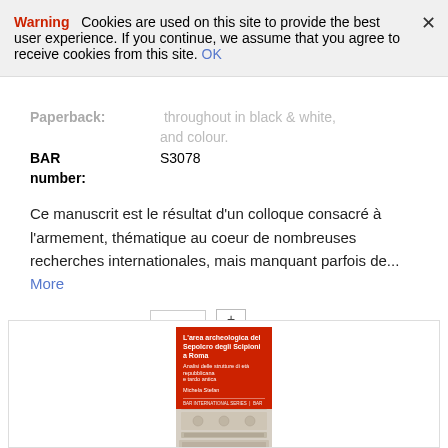Warning Cookies are used on this site to provide the best user experience. If you continue, we assume that you agree to receive cookies from this site. OK
Paperback:  [pages, illustrated] throughout in black & white, and colour.
BAR number: S3078
Ce manuscrit est le résultat d'un colloque consacré à l'armement, thématique au coeur de nombreuses recherches internationales, mais manquant parfois de... More
Quantity: 1
ADD TO CART
[Figure (illustration): Book cover for 'L'area archeologica del Sepolcro degli Scipioni a Roma' showing red top section with title, subtitle, and author text, and a stone carved architectural element on the lower section.]